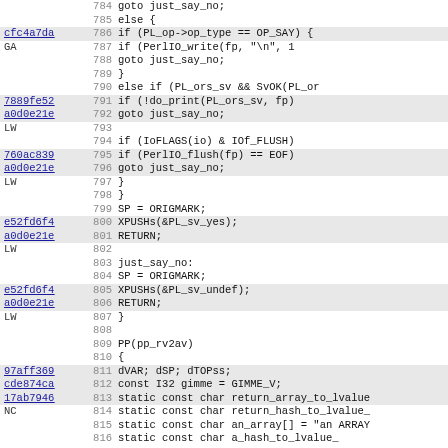[Figure (screenshot): Source code viewer showing C code lines 784-815 with line numbers, commit hash references in blue on the left, and syntax-highlighted code. Highlighted rows indicate referenced lines.]